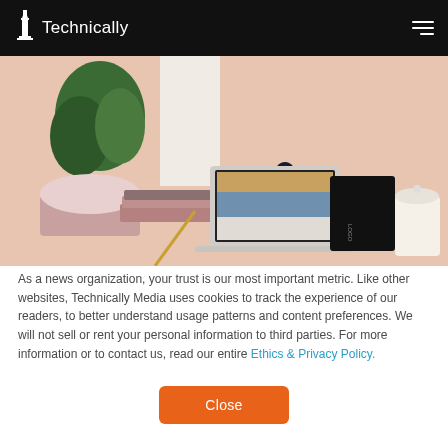Technically
[Figure (photo): A styled desk scene with a laptop displaying a website, surrounded by decorative items: plants, a candle, stacked textiles, a small sculpture, against a pink-beige background.]
As a news organization, your trust is our most important metric. Like other websites, Technically Media uses cookies to track the experience of our readers, to better understand usage patterns and content preferences. We will not sell or rent your personal information to third parties. For more information or to contact us, read our entire Ethics & Privacy Policy.
Close